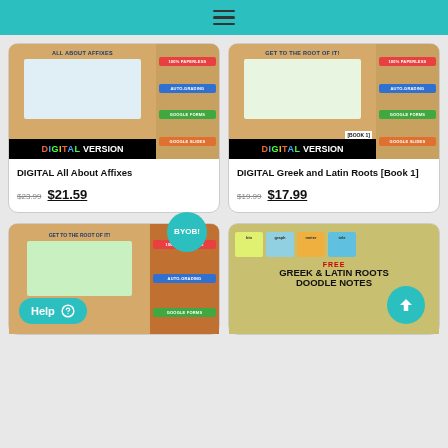Navigation menu bar
[Figure (screenshot): Product thumbnail for DIGITAL All About Affixes showing document preview with colorful labels: 100% PAPERLESS, AUTO-GRADING, GOOGLE FORMS, GOOGLE SLIDES, and DIGITAL VERSION badge]
DIGITAL All About Affixes
$23.99  $21.59
[Figure (screenshot): Product thumbnail for DIGITAL Greek and Latin Roots Book 1 showing document preview with colorful labels: 100% PAPERLESS, AUTO-GRADING, GOOGLE FORMS, GOOGLE SLIDES, [BOOK 1] label, and DIGITAL VERSION badge]
DIGITAL Greek and Latin Roots [Book 1]
$19.99  $17.99
[Figure (screenshot): Product thumbnail with BYOB! badge showing tablet preview of Get to the Root of It with 100% PAPERLESS, AUTO-GRADING, GOOGLE FORMS labels, and Help chat button overlay]
[Figure (screenshot): FREE GREEK & LATIN ROOTS DOODLE NOTES product thumbnail showing colorful root word cards with scroll-to-top button overlay]